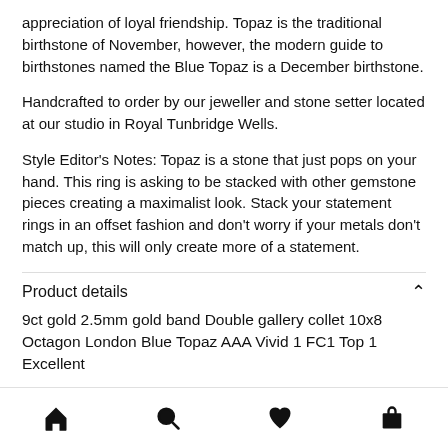appreciation of loyal friendship. Topaz is the traditional birthstone of November, however, the modern guide to birthstones named the Blue Topaz is a December birthstone.
Handcrafted to order by our jeweller and stone setter located at our studio in Royal Tunbridge Wells.
Style Editor's Notes: Topaz is a stone that just pops on your hand. This ring is asking to be stacked with other gemstone pieces creating a maximalist look. Stack your statement rings in an offset fashion and don't worry if your metals don't match up, this will only create more of a statement.
Product details
9ct gold 2.5mm gold band Double gallery collet 10x8 Octagon London Blue Topaz AAA Vivid 1 FC1 Top 1 Excellent